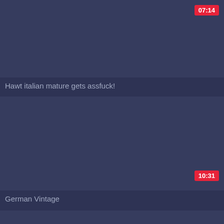[Figure (screenshot): Video thumbnail placeholder - dark blue-grey rectangle]
07:14
Hawt italian mature gets assfuck!
[Figure (screenshot): Video thumbnail placeholder - dark blue-grey rectangle]
10:31
German Vintage
[Figure (screenshot): Video thumbnail placeholder - dark blue-grey rectangle, partial]